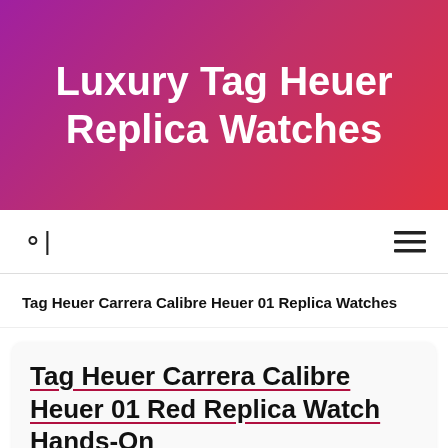Luxury Tag Heuer Replica Watches
Search | Menu
Tag Heuer Carrera Calibre Heuer 01 Replica Watches
Tag Heuer Carrera Calibre Heuer 01 Red Replica Watch Hands-On
The TAG Heuer Carrera Calibre Heuer 01 45mm Fake watches that the special edition Red Devil...